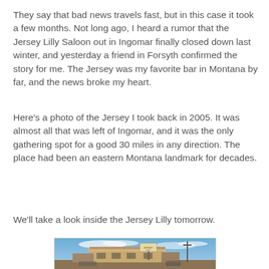They say that bad news travels fast, but in this case it took a few months. Not long ago, I heard a rumor that the Jersey Lilly Saloon out in Ingomar finally closed down last winter, and yesterday a friend in Forsyth confirmed the story for me. The Jersey was my favorite bar in Montana by far, and the news broke my heart.
Here's a photo of the Jersey I took back in 2005. It was almost all that was left of Ingomar, and it was the only gathering spot for a good 30 miles in any direction. The place had been an eastern Montana landmark for decades.
We'll take a look inside the Jersey Lilly tomorrow.
[Figure (photo): Exterior photo of the Jersey Lilly Saloon in Ingomar, Montana. A low building with a wooden facade and signage, set against a bright blue sky with wispy clouds. Taken in 2005.]